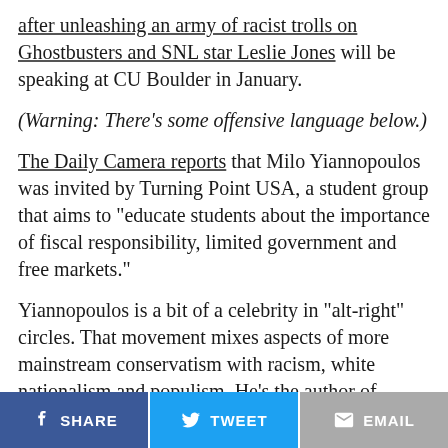after unleashing an army of racist trolls on Ghostbusters and SNL star Leslie Jones will be speaking at CU Boulder in January.
(Warning: There's some offensive language below.)
The Daily Camera reports that Milo Yiannopoulos was invited by Turning Point USA, a student group that aims to "educate students about the importance of fiscal responsibility, limited government and free markets."
Yiannopoulos is a bit of a celebrity in "alt-right" circles. That movement mixes aspects of more mainstream conservatism with racism, white nationalism and populism. He's the author of articles on the right-wing news site Breitbart about how women would be happier without birth control
[Figure (other): Social sharing bar with three buttons: Facebook SHARE (dark blue), Twitter TWEET (light blue), EMAIL (gray)]